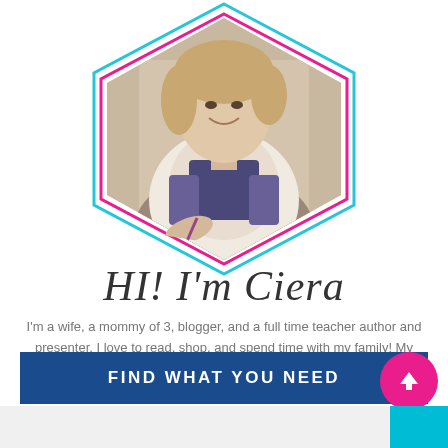[Figure (photo): Woman smiling and writing at a desk, shown inside a hexagonal frame with pink and teal borders]
HI! I'm Ciera
I'm a wife, a mommy of 3, blogger, and a full time teacher author and presenter. I love to read, shop, and spend time with my family! My hands are always busy, but my heart is so full!
FIND WHAT YOU NEED